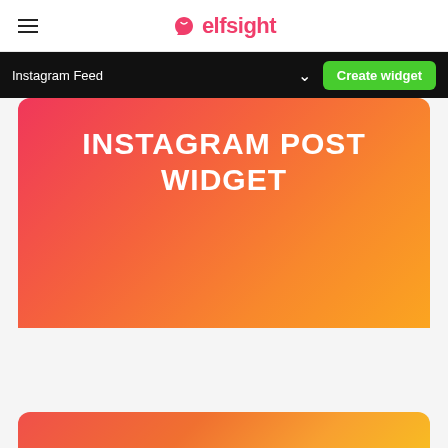elfsight
Instagram Feed
[Figure (screenshot): Hero banner with pink-to-orange gradient background showing 'INSTAGRAM POST WIDGET' text in white bold uppercase letters]
Instagram post widget
Show selected posts from Instagram on your website.
[Figure (screenshot): Second card partially visible with red-to-yellow gradient background]